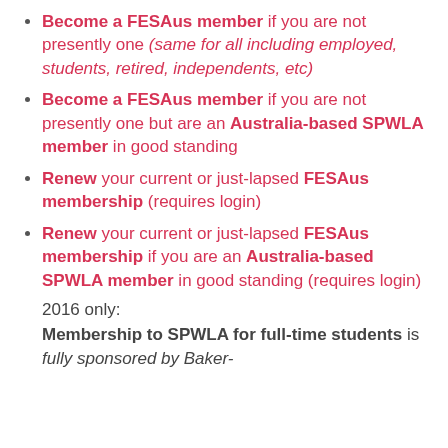Become a FESAus member if you are not presently one (same for all including employed, students, retired, independents, etc)
Become a FESAus member if you are not presently one but are an Australia-based SPWLA member in good standing
Renew your current or just-lapsed FESAus membership (requires login)
Renew your current or just-lapsed FESAus membership if you are an Australia-based SPWLA member in good standing (requires login)
2016 only:
Membership to SPWLA for full-time students is fully sponsored by Baker-